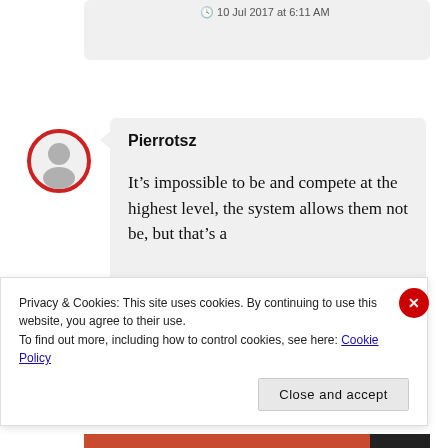10 Jul 2017 at 6:11 AM
[Figure (illustration): User avatar: gray silhouette of a person inside a red circle outline]
Pierrotsz
It’s impossible to be and compete at the highest level, the system allows them not be, but that’s a
Privacy & Cookies: This site uses cookies. By continuing to use this website, you agree to their use.
To find out more, including how to control cookies, see here: Cookie Policy
Close and accept